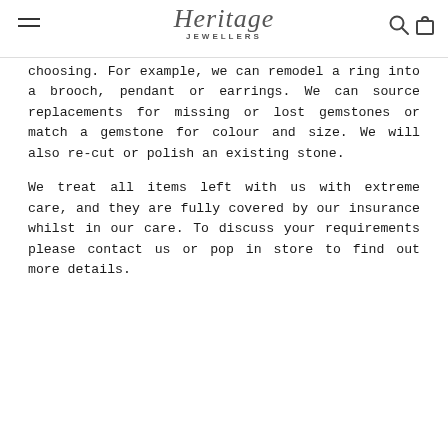Heritage Jewellers
choosing. For example, we can remodel a ring into a brooch, pendant or earrings. We can source replacements for missing or lost gemstones or match a gemstone for colour and size. We will also re-cut or polish an existing stone.
We treat all items left with us with extreme care, and they are fully covered by our insurance whilst in our care. To discuss your requirements please contact us or pop in store to find out more details.